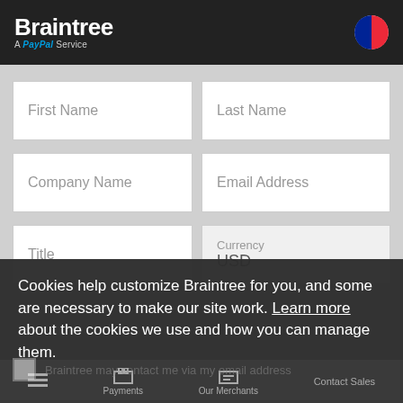Braintree A PayPal Service
First Name
Last Name
Company Name
Email Address
Title
Currency USD
Cookies help customize Braintree for you, and some are necessary to make our site work. Learn more about the cookies we use and how you can manage them.
Accept
Braintree may contact me via my email address
Payments  Our Merchants  Contact Sales